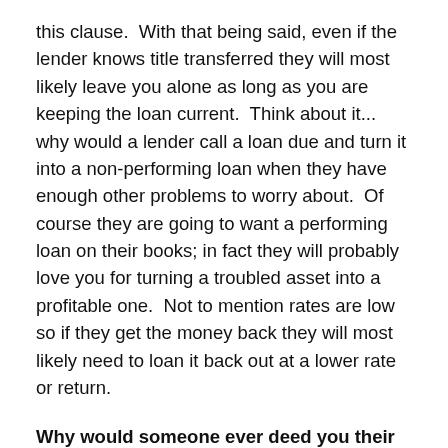this clause.  With that being said, even if the lender knows title transferred they will most likely leave you alone as long as you are keeping the loan current.  Think about it... why would a lender call a loan due and turn it into a non-performing loan when they have enough other problems to worry about.  Of course they are going to want a performing loan on their books; in fact they will probably love you for turning a troubled asset into a profitable one.  Not to mention rates are low so if they get the money back they will most likely need to loan it back out at a lower rate or return.
Why would someone ever deed you their house?